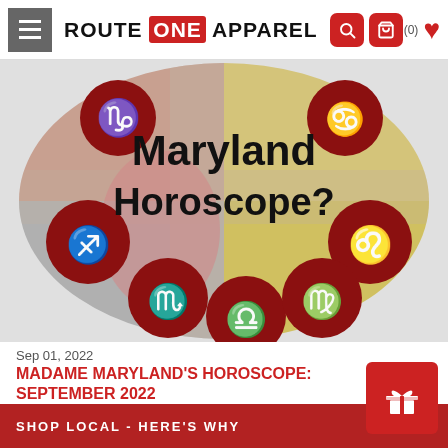ROUTE ONE APPAREL
[Figure (illustration): Maryland Horoscope hero image with Maryland state flag design (red/white/gold/black quadrants), zodiac sign circles in red, and text 'Maryland Horoscope?' overlaid in bold black text]
Sep 01, 2022
MADAME MARYLAND'S HOROSCOPE: SEPTEMBER 2022
Fall is finally in sight, Marylanders! Summer has been fun, but it's time to embrace all that autumn in Maryland has to
SHOP LOCAL - HERE'S WHY